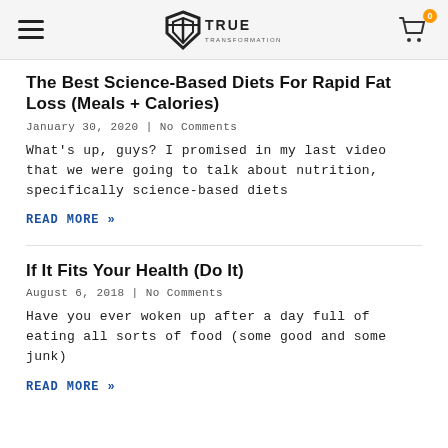TRUE TRANSFORMATION
The Best Science-Based Diets For Rapid Fat Loss (Meals + Calories)
January 30, 2020 | No Comments
What's up, guys? I promised in my last video that we were going to talk about nutrition, specifically science-based diets
READ MORE »
If It Fits Your Health (Do It)
August 6, 2018 | No Comments
Have you ever woken up after a day full of eating all sorts of food (some good and some junk)
READ MORE »